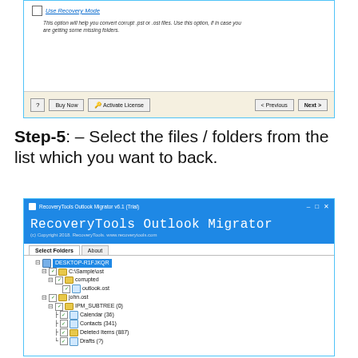[Figure (screenshot): Software wizard dialog showing 'Use Recovery Mode' checkbox with description text and navigation buttons (?, Buy Now, Activate License, < Previous, Next >)]
Step-5: – Select the files / folders from the list which you want to back.
[Figure (screenshot): RecoveryTools Outlook Migrator v6.1 (Trial) window showing folder tree with DESKTOP-R1FJKQR, C:\Sample\ost, corrupted, outlook.ost, john.ost, IPM_SUBTREE (0), Calendar (36), Contacts (341), Deleted Items (887), Drafts (?)]